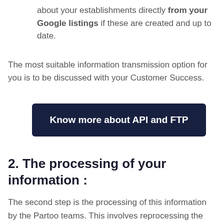about your establishments directly from your Google listings if these are created and up to date.
The most suitable information transmission option for you is to be discussed with your Customer Success.
[Figure (other): Dark navy button with white bold text reading 'Know more about API and FTP']
2. The processing of your information :
The second step is the processing of this information by the Partoo teams. This involves reprocessing the addresses transmitted so that they comply with the formats required by the various distribution sites, as